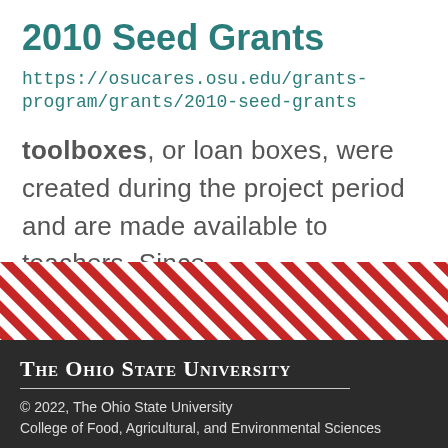2010 Seed Grants
https://osucares.osu.edu/grants-program/grants/2010-seed-grants
toolboxes, or loan boxes, were created during the project period and are made available to teachers. Since ...
[Figure (illustration): Diagonal red and white stripe banner pattern]
[Figure (logo): The Ohio State University logo text in white on dark background]
© 2022, The Ohio State University
College of Food, Agricultural, and Environmental Sciences